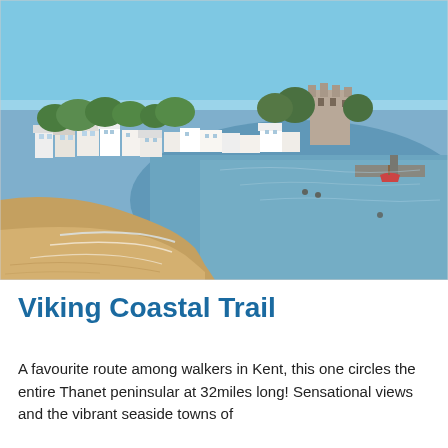[Figure (photo): Aerial/ground-level photo of a coastal seaside town (Broadstairs/Ramsgate in Kent) showing a curved sandy beach with gentle waves, calm blue-green sea water, and a row of white and coloured seaside buildings/houses along the shoreline backed by trees and a castle-like structure, under a clear blue sky.]
Viking Coastal Trail
A favourite route among walkers in Kent, this one circles the entire Thanet peninsular at 32miles long! Sensational views and the vibrant seaside towns of